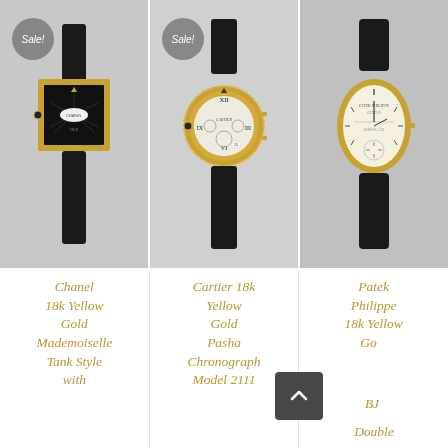[Figure (photo): Three luxury watches on black leather straps displayed side by side. Left: Chanel 18k yellow gold square case watch with 'Sale!' badge. Center: Cartier 18k yellow gold Pasha chronograph with 'Sale!' badge. Right: Patek Philippe 18k yellow gold ellipse watch.]
Chanel 18k Yellow Gold Mademoiselle Tank Style with
Cartier 18k Yellow Gold Pasha Chronograph Model 2111
Patek Philippe 18k Yellow Gold Double